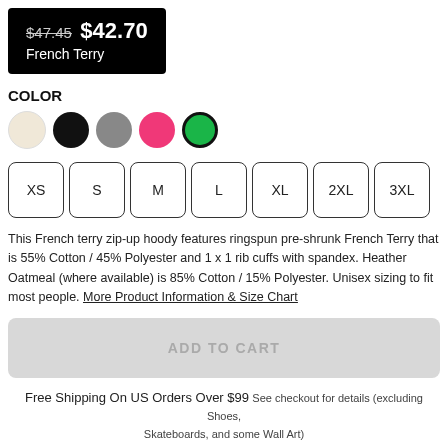$47.45 $42.70 French Terry
COLOR
[Figure (other): Color swatches: oatmeal, black, gray, pink, green (selected)]
[Figure (other): Size selector buttons: XS, S, M, L, XL, 2XL, 3XL]
This French terry zip-up hoody features ringspun pre-shrunk French Terry that is 55% Cotton / 45% Polyester and 1 x 1 rib cuffs with spandex. Heather Oatmeal (where available) is 85% Cotton / 15% Polyester. Unisex sizing to fit most people. More Product Information & Size Chart
ADD TO CART
Free Shipping On US Orders Over $99 See checkout for details (excluding Shoes, Skateboards, and some Wall Art)